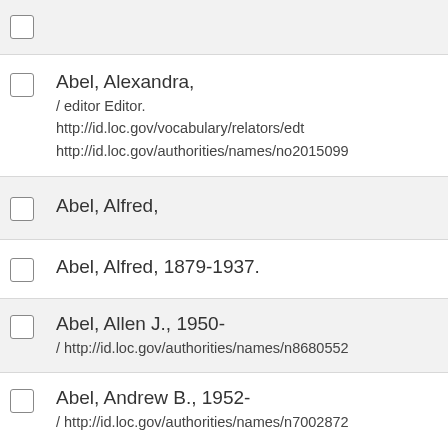(partial entry at top, shaded)
Abel, Alexandra, / editor Editor. http://id.loc.gov/vocabulary/relators/edt http://id.loc.gov/authorities/names/no2015099...
Abel, Alfred,
Abel, Alfred, 1879-1937.
Abel, Allen J., 1950- / http://id.loc.gov/authorities/names/n8680552...
Abel, Andrew B., 1952- / http://id.loc.gov/authorities/names/n7002872...